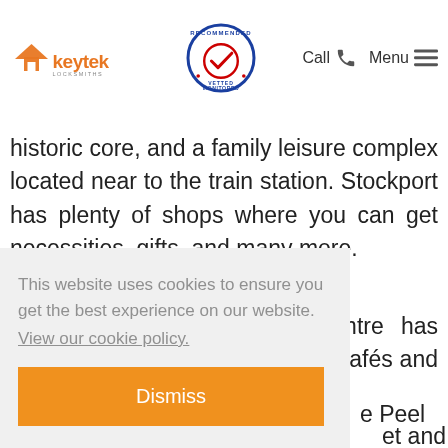Keytek Locksmiths — Call / Menu navigation header
historic core, and a family leisure complex located near to the train station. Stockport has plenty of shops where you can get necessities, gifts, and many more.
The Merseyway Shopping Centre has more than 60 stores, as well as cafés and banks. Stockport's ... e Peel ... et and ... ptions. ... endent ... a nice ... a little
This website uses cookies to ensure you get the best experience on our website. View our cookie policy. Dismiss